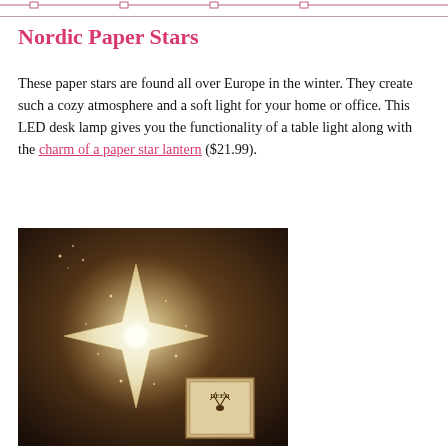Nordic Paper Stars
These paper stars are found all over Europe in the winter. They create such a cozy atmosphere and a soft light for your home or office. This LED desk lamp gives you the functionality of a table light along with the charm of a paper star lantern ($21.99).
[Figure (photo): A glowing white paper star lantern lamp illuminated against a dark background, with a small framed sign reading 'DEER' with a deer illustration visible behind it.]